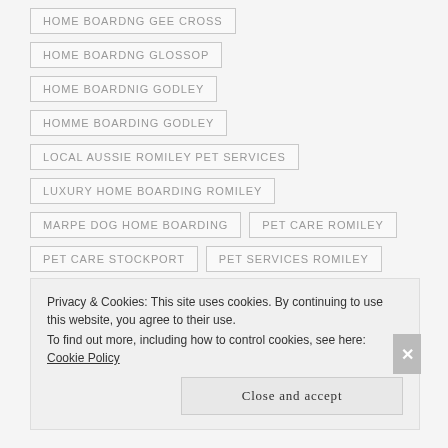HOME BOARDNG GEE CROSS
HOME BOARDNG GLOSSOP
HOME BOARDNIG GODLEY
HOMME BOARDING GODLEY
LOCAL AUSSIE ROMILEY PET SERVICES
LUXURY HOME BOARDING ROMILEY
MARPE DOG HOME BOARDING
PET CARE ROMILEY
PET CARE STOCKPORT
PET SERVICES ROMILEY
PET SERVICES STOCKPORT
Privacy & Cookies: This site uses cookies. By continuing to use this website, you agree to their use.
To find out more, including how to control cookies, see here: Cookie Policy
Close and accept